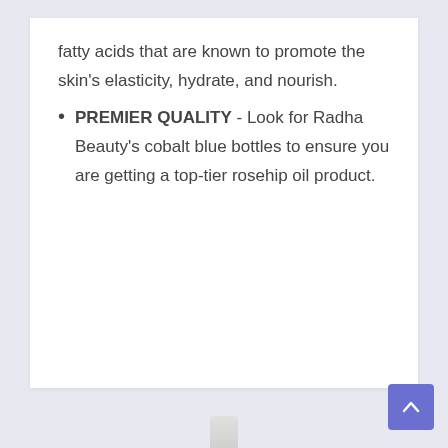fatty acids that are known to promote the skin's elasticity, hydrate, and nourish.
PREMIER QUALITY - Look for Radha Beauty's cobalt blue bottles to ensure you are getting a top-tier rosehip oil product.